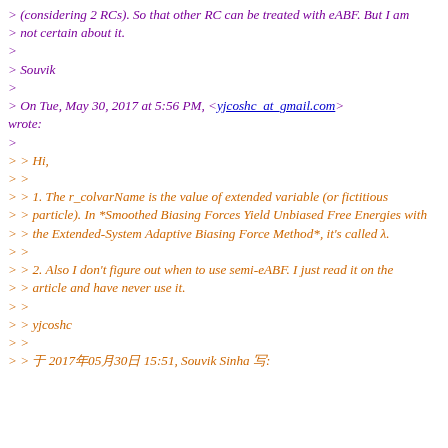> (considering 2 RCs). So that other RC can be treated with eABF. But I am
> not certain about it.
>
> Souvik
>
> On Tue, May 30, 2017 at 5:56 PM, <yjcoshc_at_gmail.com> wrote:
>
> > Hi,
> >
> > 1. The r_colvarName is the value of extended variable (or fictitious
> > particle). In *Smoothed Biasing Forces Yield Unbiased Free Energies with
> > the Extended-System Adaptive Biasing Force Method*, it's called λ.
> >
> > 2. Also I don't figure out when to use semi-eABF. I just read it on the
> > article and have never use it.
> >
> > yjcoshc
> >
> > 于 2017年05月30日 15:51, Souvik Sinha 写: